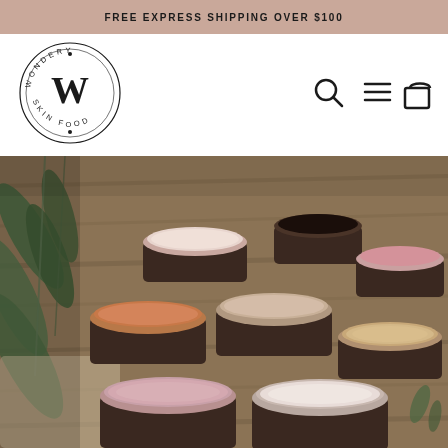FREE EXPRESS SHIPPING OVER $100
[Figure (logo): Wondery Skin Food circular logo with W monogram]
[Figure (infographic): Navigation icons: search magnifier, hamburger menu, shopping bag]
[Figure (photo): Photo of multiple open cosmetic powder pots in dark containers with various shades (pink, white, terracotta, nude) arranged on a wooden surface with eucalyptus leaves]